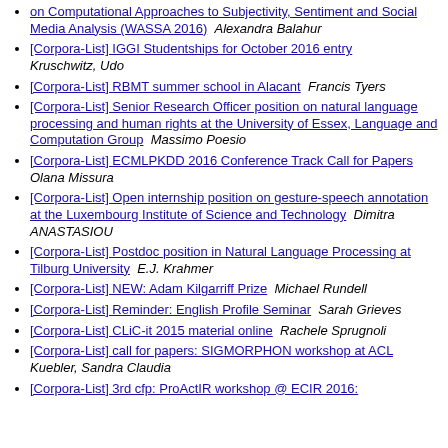on Computational Approaches to Subjectivity, Sentiment and Social Media Analysis (WASSA 2016)  Alexandra Balahur
[Corpora-List] IGGI Studentships for October 2016 entry  Kruschwitz, Udo
[Corpora-List] RBMT summer school in Alacant  Francis Tyers
[Corpora-List] Senior Research Officer position on natural language processing and human rights at the University of Essex, Language and Computation Group  Massimo Poesio
[Corpora-List] ECMLPKDD 2016 Conference Track Call for Papers  Olana Missura
[Corpora-List] Open internship position on gesture-speech annotation at the Luxembourg Institute of Science and Technology  Dimitra ANASTASIOU
[Corpora-List] Postdoc position in Natural Language Processing at Tilburg University  E.J. Krahmer
[Corpora-List] NEW: Adam Kilgarriff Prize  Michael Rundell
[Corpora-List] Reminder: English Profile Seminar  Sarah Grieves
[Corpora-List] CLiC-it 2015 material online  Rachele Sprugnoli
[Corpora-List] call for papers: SIGMORPHON workshop at ACL  Kuebler, Sandra Claudia
[Corpora-List] 3rd cfp: ProActIR workshop @ ECIR 2016: